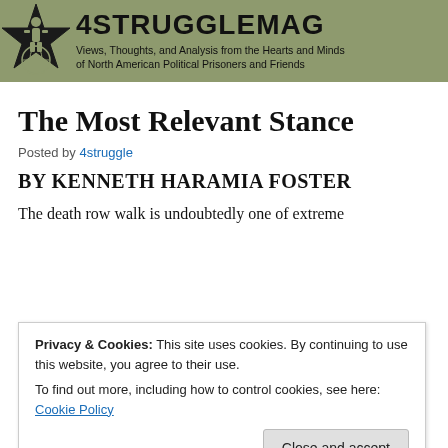[Figure (logo): 4STRUGGLEMAG website header banner with star logo and tagline: Views, Thoughts, and Analysis from the Hearts and Minds of North American Political Prisoners and Friends]
The Most Relevant Stance
Posted by 4struggle
BY KENNETH HARAMIA FOSTER
The death row walk is undoubtedly one of extreme
Privacy & Cookies: This site uses cookies. By continuing to use this website, you agree to their use.
To find out more, including how to control cookies, see here: Cookie Policy
[Close and accept]
beliefs there's just no way that another man can instruct